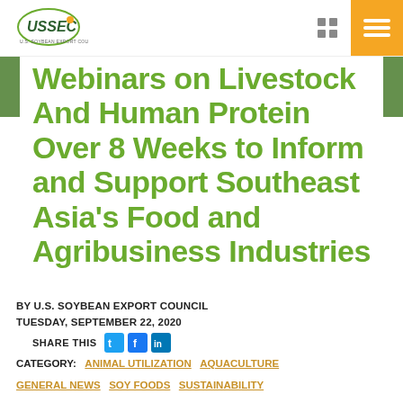USSEC U.S. Soybean Export Council
Webinars on Livestock And Human Protein Over 8 Weeks to Inform and Support Southeast Asia's Food and Agribusiness Industries
BY U.S. SOYBEAN EXPORT COUNCIL
TUESDAY, SEPTEMBER 22, 2020
SHARE THIS
CATEGORY: ANIMAL UTILIZATION AQUACULTURE GENERAL NEWS SOY FOODS SUSTAINABILITY VIRTUAL EVENTS